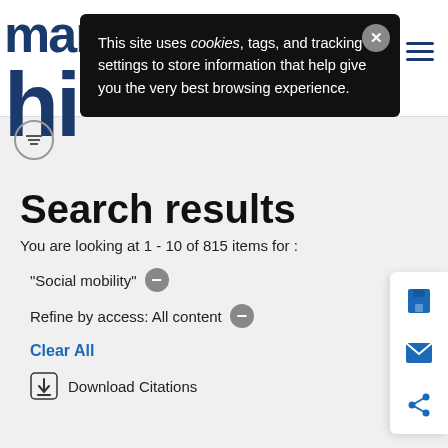manchester hi
This site uses cookies, tags, and tracking settings to store information that help give you the very best browsing experience.
Search results
You are looking at 1 - 10 of 815 items for :
"Social mobility"
Refine by access: All content
Clear All
Download Citations